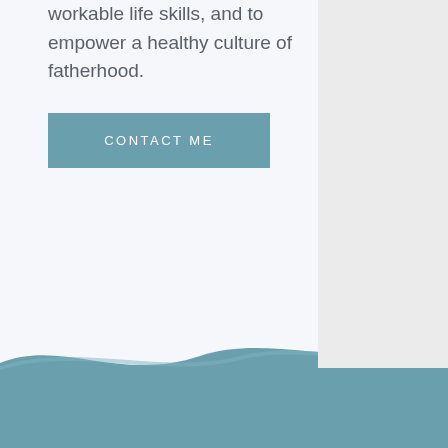be men, equip women and men with workable life skills, and to empower a healthy culture of fatherhood.
CONTACT ME